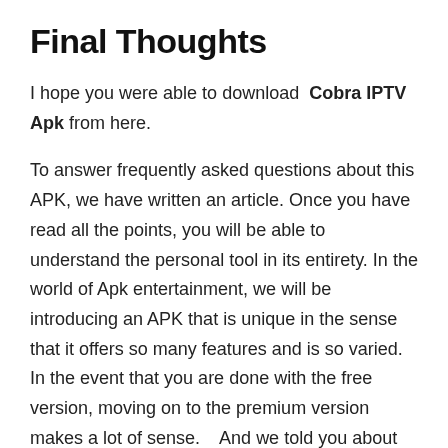Final Thoughts
I hope you were able to download  Cobra IPTV Apk from here.
To answer frequently asked questions about this APK, we have written an article. Once you have read all the points, you will be able to understand the personal tool in its entirety. In the world of Apk entertainment, we will be introducing an APK that is unique in the sense that it offers so many features and is so varied. In the event that you are done with the free version, moving on to the premium version makes a lot of sense.    And we told you about the safety of the premium version.
This is an excellent app for Android and PC that you